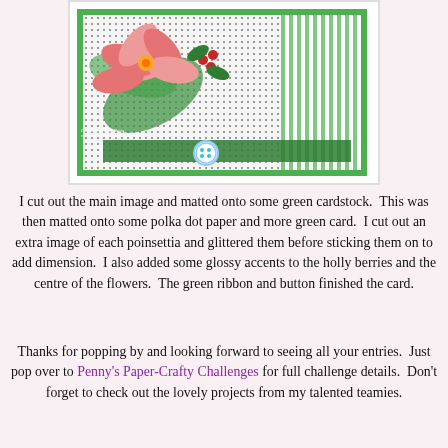[Figure (photo): A handcrafted Christmas card featuring a poinsettia flower with green leaves and holly berries on a green and polka dot background, decorated with a dark green ribbon and a white polka dot button. Watermark text reads 'Handcrafted by Noga' and a website URL.]
I cut out the main image and matted onto some green cardstock.  This was then matted onto some polka dot paper and more green card.  I cut out an extra image of each poinsettia and glittered them before sticking them on to add dimension.  I also added some glossy accents to the holly berries and the centre of the flowers.  The green ribbon and button finished the card.
Thanks for popping by and looking forward to seeing all your entries.  Just pop over to Penny's Paper-Crafty Challenges for full challenge details.  Don't forget to check out the lovely projects from my talented teamies.